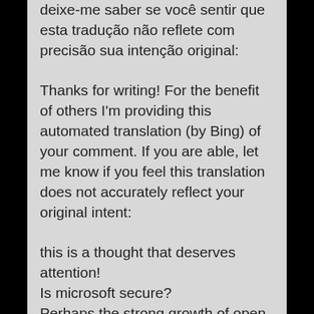deixe-me saber se você sentir que esta tradução não reflete com precisão sua intenção original:
Thanks for writing! For the benefit of others I'm providing this automated translation (by Bing) of your comment. If you are able, let me know if you feel this translation does not accurately reflect your original intent:
this is a thought that deserves attention!
Is microsoft secure?
Perhaps the strong growth of open languages is not only because they are opened, but also because there is a curve of existence mays and very few thoughts in discontinuity. The world "DEV" is tired of the fad in the languages, every day we